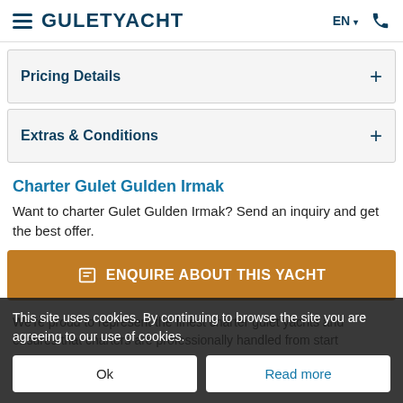GULETYACHT — EN — phone
Pricing Details
Extras & Conditions
Charter Gulet Gulden Irmak
Want to charter Gulet Gulden Irmak? Send an inquiry and get the best offer.
ENQUIRE ABOUT THIS YACHT
We're proud to represent the finest charter gulet yachts and ensures that charters are professionally handled from start
This site uses cookies. By continuing to browse the site you are agreeing to our use of cookies.
Ok
Read more